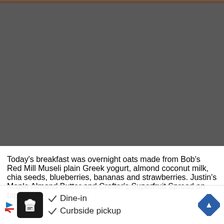[Figure (photo): Top strip showing partial food photo (overnight oats), mostly obscured by dark gray overlay area]
Today's breakfast was overnight oats made from Bob's Red Mill Museli plain Greek yogurt, almond coconut milk, chia seeds, blueberries, bananas and strawberries. Justin's Maple Almond Butter and Crofter's Superfruit Spread on top. [ad overlay partially obscures bottom text]